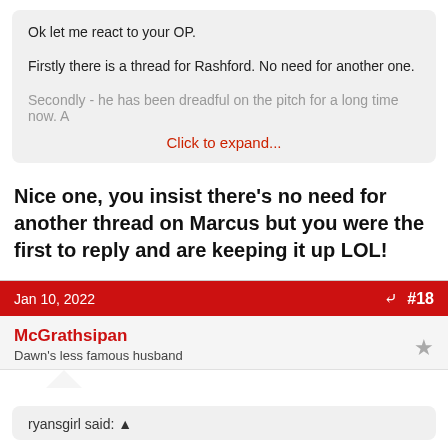Ok let me react to your OP.

Firstly there is a thread for Rashford. No need for another one.

Secondly - he has been dreadful on the pitch for a long time now. A

Click to expand...
Nice one, you insist there's no need for another thread on Marcus but you were the first to reply and are keeping it up LOL!
Jan 10, 2022  #18
McGrathsipan
Dawn's less famous husband
ryansgirl said: